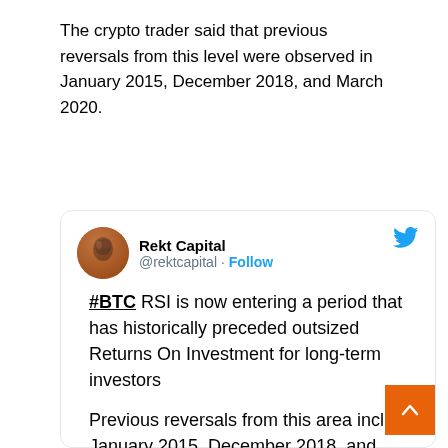The crypto trader said that previous reversals from this level were observed in January 2015, December 2018, and March 2020.
[Figure (screenshot): Tweet from @rektcapital (Rekt Capital) with Twitter bird logo. Tweet text: #BTC RSI is now entering a period that has historically preceded outsized Returns On Investment for long-term investors. Previous reversals from this area include January 2015, December 2018, and March 2020. All Bear Market bottoms]